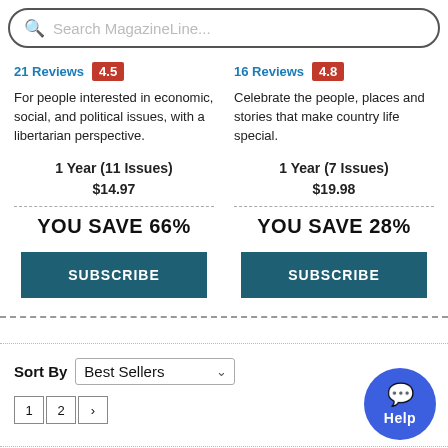Search MagazineLine...
21 Reviews 4.5
16 Reviews 4.8
For people interested in economic, social, and political issues, with a libertarian perspective.
Celebrate the people, places and stories that make country life special.
1 Year (11 Issues)
$14.97
1 Year (7 Issues)
$19.98
YOU SAVE 66%
YOU SAVE 28%
SUBSCRIBE
SUBSCRIBE
Sort By Best Sellers
1 2 >